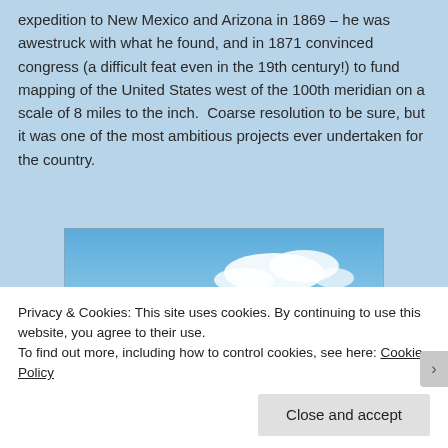expedition to New Mexico and Arizona in 1869 – he was awestruck with what he found, and in 1871 convinced congress (a difficult feat even in the 19th century!) to fund mapping of the United States west of the 100th meridian on a scale of 8 miles to the inch.  Coarse resolution to be sure, but it was one of the most ambitious projects ever undertaken for the country.
[Figure (photo): Panoramic photograph of mountain ridgeline with blue sky and clouds in background]
Privacy & Cookies: This site uses cookies. By continuing to use this website, you agree to their use.
To find out more, including how to control cookies, see here: Cookie Policy